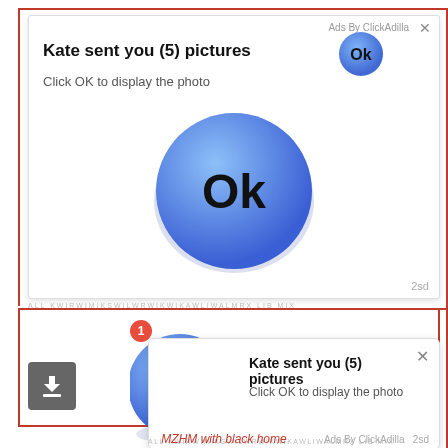[Figure (screenshot): Top ad card from ClickAdilla showing 'Kate sent you (5) pictures' with 'Click OK to display the photo' text, a blue Ok button circle (small, top right), and a large blue Ok circle button in the center of the card. Shows '2sd' label at bottom right.]
Kate sent you (5) pictures
Click OK to display the photo
[Figure (screenshot): Bottom push notification card showing 'Kate sent you (5) pictures' with 'Click OK to display the photo', a large blue Ok circle on the left, a red badge with '1', a download button, and 'Ads By ClickAdilla 2sd' in footer.]
Kate sent you (5) pictures
Click OK to display the photo
MZHM with black home